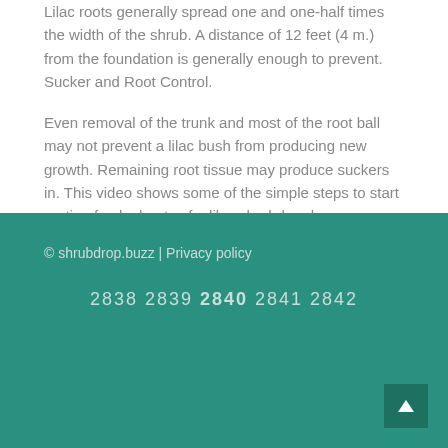Lilac roots generally spread one and one-half times the width of the shrub. A distance of 12 feet (4 m.) from the foundation is generally enough to prevent. Sucker and Root Control.
Even removal of the trunk and most of the root ball may not prevent a lilac bush from producing new growth. Remaining root tissue may produce suckers in. This video shows some of the simple steps to start rooting fresh shoots of a lilac shrubdrop.buzz Hormone: shrubdrop.buzz's an update after at least a.
© shrubdrop.buzz | Privacy policy
2838 2839 2840 2841 2842